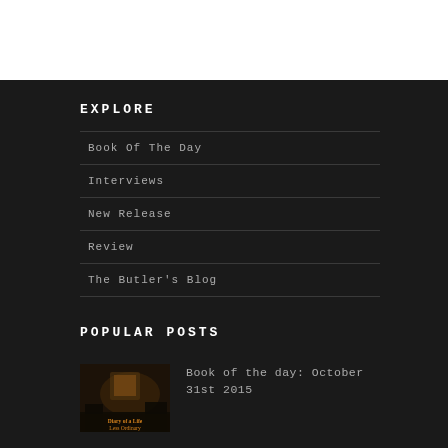EXPLORE
Book Of The Day
Interviews
New Release
Review
The Butler's Blog
POPULAR POSTS
[Figure (photo): Book cover thumbnail for 'Diary of a Life Less Ordinary']
Book of the day: October 31st 2015